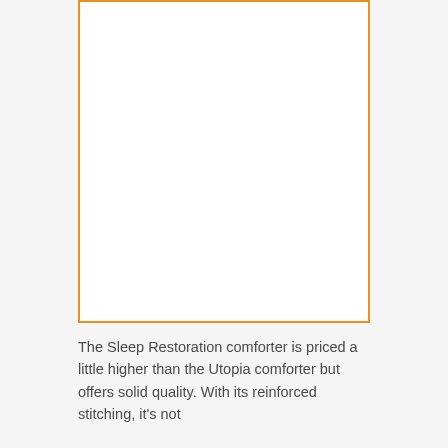[Figure (other): Empty white box with orange border, placeholder for a product image]
The Sleep Restoration comforter is priced a little higher than the Utopia comforter but offers solid quality. With its reinforced stitching, it's not